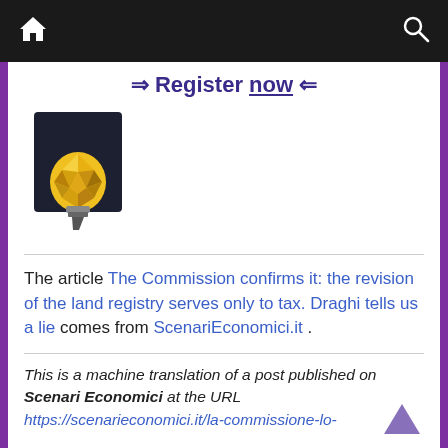🏠  [home icon]  [search icon]
⇒ Register now ⇐
[Figure (logo): ScenariEconomici.it lightbulb logo on dark background]
The article The Commission confirms it: the revision of the land registry serves only to tax. Draghi tells us a lie comes from ScenariEconomici.it .
This is a machine translation of a post published on Scenari Economici at the URL https://scenarieconomici.it/la-commissione-lo-